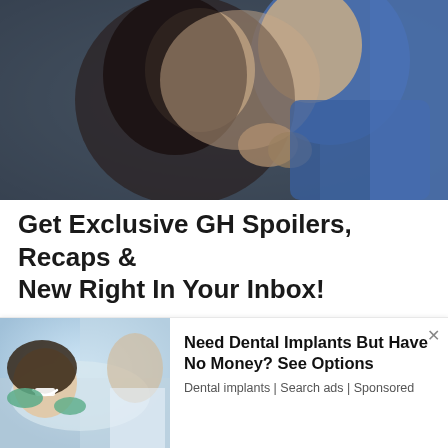[Figure (photo): Two people (a woman with dark hair and a man in blue) sharing a close romantic moment/kiss in a dimly lit setting]
Get Exclusive GH Spoilers, Recaps & New Right In Your Inbox!
Your first name
[Figure (photo): Woman smiling in a dental chair being examined by a dental professional wearing green gloves]
Need Dental Implants But Have No Money? See Options
Dental implants | Search ads | Sponsored